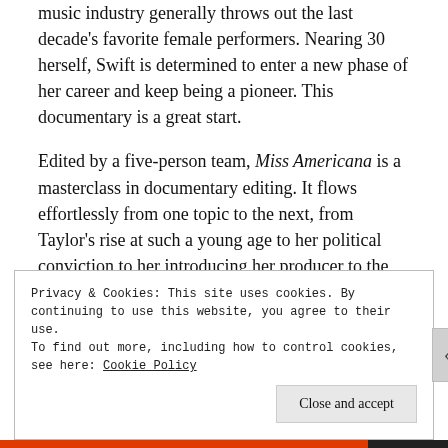music industry generally throws out the last decade's favorite female performers. Nearing 30 herself, Swift is determined to enter a new phase of her career and keep being a pioneer. This documentary is a great start.
Edited by a five-person team, Miss Americana is a masterclass in documentary editing. It flows effortlessly from one topic to the next, from Taylor's rise at such a young age to her political conviction to her introducing her producer to the wonders of burritos. Everything here is punctuated with personality and humor – the only way to describe it is totally endearing.
Privacy & Cookies: This site uses cookies. By continuing to use this website, you agree to their use.
To find out more, including how to control cookies, see here: Cookie Policy
Close and accept